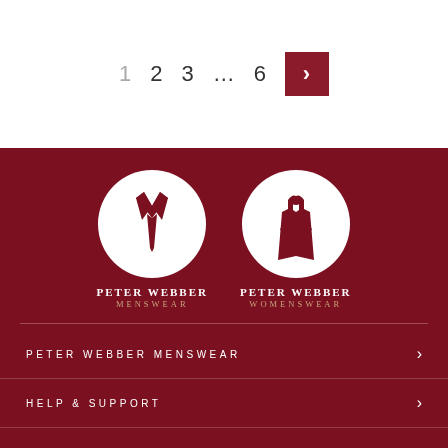1  2  3  ...  6  >
[Figure (logo): Peter Webber Menswear logo — white circle with shirt and tie icon on dark red background, text 'PETER WEBBER MENSWEAR' below]
[Figure (logo): Peter Webber Womenswear logo — white circle with dress icon on dark red background, text 'PETER WEBBER WOMENSWEAR' below]
PETER WEBBER MENSWEAR
HELP & SUPPORT
SIGN UP AND SAVE